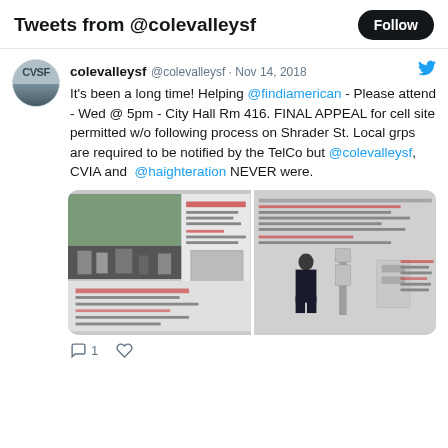Tweets from @colevalleysf
colevalleysf @colevalleysf · Nov 14, 2018
It's been a long time! Helping @findiamerican - Please attend - Wed @ 5pm - City Hall Rm 416. FINAL APPEAL for cell site permitted w/o following process on Shrader St. Local grps are required to be notified by the TelCo but @colevalleysf, CVIA and @haighteration NEVER were.
[Figure (screenshot): Two attached images showing documents related to a cell site appeal on Shrader St. Left image shows a street view and permit document. Right image shows a person standing next to cell infrastructure with supporting documents.]